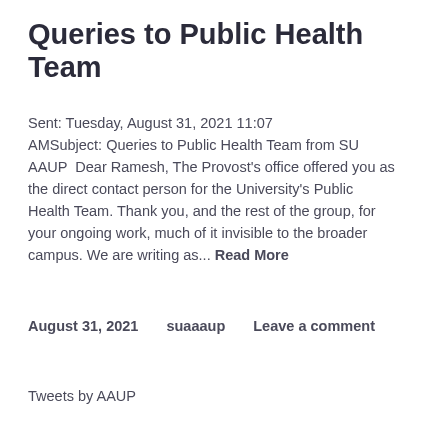Queries to Public Health Team
Sent: Tuesday, August 31, 2021 11:07 AMSubject: Queries to Public Health Team from SU AAUP  Dear Ramesh, The Provost's office offered you as the direct contact person for the University's Public Health Team. Thank you, and the rest of the group, for your ongoing work, much of it invisible to the broader campus. We are writing as... Read More
August 31, 2021   suaaaup   Leave a comment
Tweets by AAUP